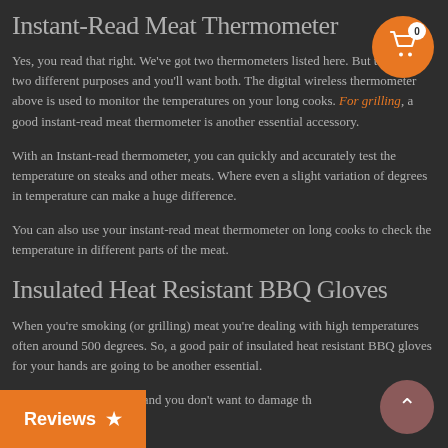Instant-Read Meat Thermometer
Yes, you read that right. We've got two thermometers listed here. But they serve two different purposes and you'll want both. The digital wireless thermometer above is used to monitor the temperatures on your long cooks. For grilling, a good instant-read meat thermometer is another essential accessory.
With an Instant-read thermometer, you can quickly and accurately test the temperature on steaks and other meats. Where even a slight variation of degrees in temperature can make a huge difference.
You can also use your instant-read meat thermometer on long cooks to check the temperature in different parts of the meat.
Insulated Heat Resistant BBQ Gloves
When you're smoking (or grilling) meat you're dealing with high temperatures often around 500 degrees. So, a good pair of insulated heat resistant BBQ gloves for your hands are going to be another essential.
useful for handling meat and you don't want to damage the